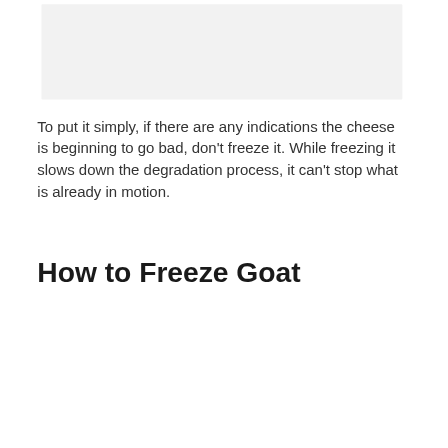[Figure (photo): A light gray rectangular image placeholder area at the top of the page]
To put it simply, if there are any indications the cheese is beginning to go bad, don't freeze it. While freezing it slows down the degradation process, it can't stop what is already in motion.
How to Freeze Goat